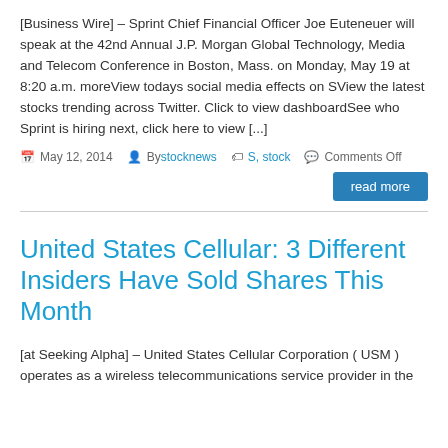[Business Wire] – Sprint Chief Financial Officer Joe Euteneuer will speak at the 42nd Annual J.P. Morgan Global Technology, Media and Telecom Conference in Boston, Mass. on Monday, May 19 at 8:20 a.m. moreView todays social media effects on SView the latest stocks trending across Twitter. Click to view dashboardSee who Sprint is hiring next, click here to view [...]
May 12, 2014  Bystocknews  S, stock  Comments Off
read more
United States Cellular: 3 Different Insiders Have Sold Shares This Month
[at Seeking Alpha] – United States Cellular Corporation ( USM ) operates as a wireless telecommunications service provider in the